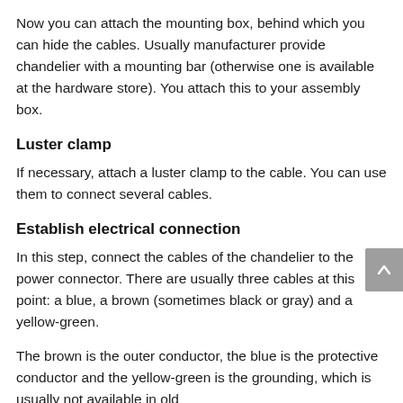Now you can attach the mounting box, behind which you can hide the cables. Usually manufacturer provide chandelier with a mounting bar (otherwise one is available at the hardware store). You attach this to your assembly box.
Luster clamp
If necessary, attach a luster clamp to the cable. You can use them to connect several cables.
Establish electrical connection
In this step, connect the cables of the chandelier to the power connector. There are usually three cables at this point: a blue, a brown (sometimes black or gray) and a yellow-green.
The brown is the outer conductor, the blue is the protective conductor and the yellow-green is the grounding, which is usually not available in old